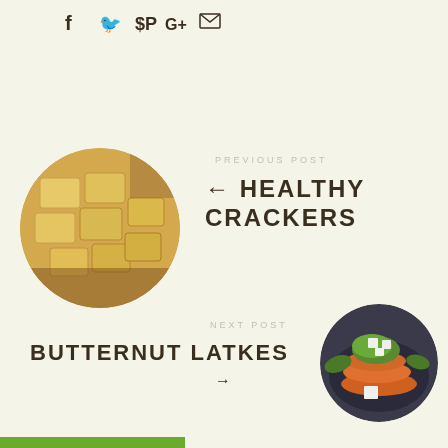[Figure (other): Social media sharing icons: Facebook (f), Twitter (bird), Pinterest (P), Google+ (G+), Email (envelope)]
PREVIOUS POST
[Figure (photo): Circular cropped photo of healthy crackers stacked on a wooden board]
← HEALTHY CRACKERS
NEXT POST
BUTTERNUT LATKES →
[Figure (photo): Circular cropped photo of butternut latkes topped with feta cheese and green sauce on a dark plate]